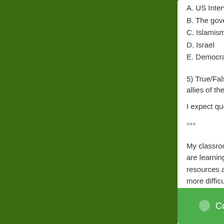A. US Interventio...
B. The governm...
C. Islamism
D. Israel
E. Democracy
5) True/False: Tens... allies of the United...
I expect questions...
***
My classroom curr... harder for me to po...
Jan 29, 2014 2:04:1...
Blogging
Com...